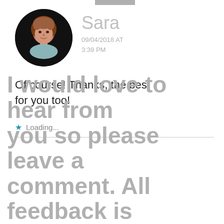[Figure (photo): Circular avatar photo of a woman named Sara, middle-aged, with short reddish-brown hair, against a dark background, wearing a light blue top.]
Sara
09/04/2018 AT 3:39 PM
Of course! Thanks, the best for you too!
★ Loading...
I would love to hear from you so please leave a comment. All feedback is